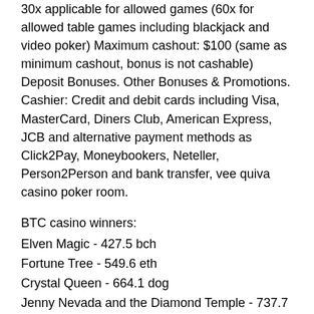30x applicable for allowed games (60x for allowed table games including blackjack and video poker) Maximum cashout: $100 (same as minimum cashout, bonus is not cashable) Deposit Bonuses. Other Bonuses & Promotions. Cashier: Credit and debit cards including Visa, MasterCard, Diners Club, American Express, JCB and alternative payment methods as Click2Pay, Moneybookers, Neteller, Person2Person and bank transfer, vee quiva casino poker room.
BTC casino winners:
Elven Magic - 427.5 bch
Fortune Tree - 549.6 eth
Crystal Queen - 664.1 dog
Jenny Nevada and the Diamond Temple - 737.7 dog
Ming Dynasty - 106 eth
Hot Roller - 395.6 eth
Jetsetter - 589.5 usdt